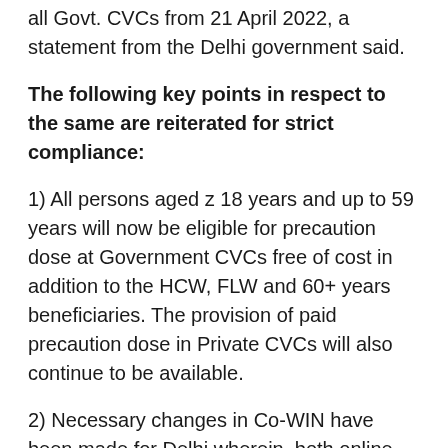all Govt. CVCs from 21 April 2022, a statement from the Delhi government said.
The following key points in respect to the same are reiterated for strict compliance:
1) All persons aged z 18 years and up to 59 years will now be eligible for precaution dose at Government CVCs free of cost in addition to the HCW, FLW and 60+ years beneficiaries. The provision of paid precaution dose in Private CVCs will also continue to be available.
2) Necessary changes in Co-WIN have been made for Delhi wherein, both online appointment and walk-in appointment will be available.
3) Same vaccine as used for previous doses will be used for Precaution dose. Eligibility will be after completion of 9 months (i.e. 39 weeks) from the date